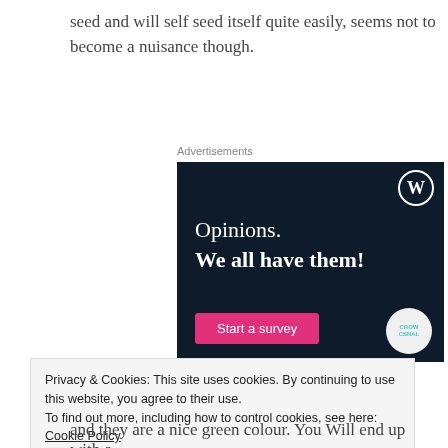seed and will self seed itself quite easily, seems not to become a nuisance though.
Advertisements
[Figure (screenshot): WordPress CrowdSignal advertisement with dark navy background. Shows WordPress logo (W in circle) top right, text 'Opinions. We all have them!' in white, a pink 'Start a survey' button at bottom left, and CrowdSignal logo circle bottom right.]
Privacy & Cookies: This site uses cookies. By continuing to use this website, you agree to their use.
To find out more, including how to control cookies, see here: Cookie Policy
and they are a nice green colour. You Will end up with a